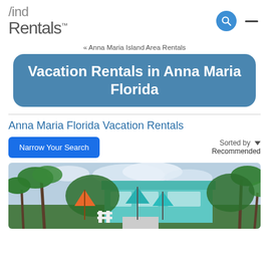Find Rentals (logo with search icon and hamburger menu)
« Anna Maria Island Area Rentals
Vacation Rentals in Anna Maria Florida
Anna Maria Florida Vacation Rentals
Narrow Your Search | Sorted by Recommended
[Figure (photo): Exterior photo of a turquoise vacation rental house with palm trees and colorful umbrellas (orange and teal) in the foreground, under a partly cloudy sky.]